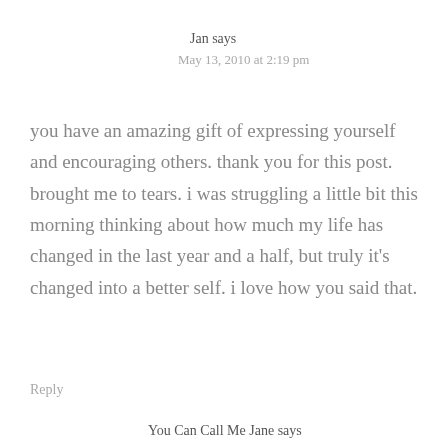Jan says
May 13, 2010 at 2:19 pm
you have an amazing gift of expressing yourself and encouraging others. thank you for this post. brought me to tears. i was struggling a little bit this morning thinking about how much my life has changed in the last year and a half, but truly it's changed into a better self. i love how you said that.
Reply
You Can Call Me Jane says